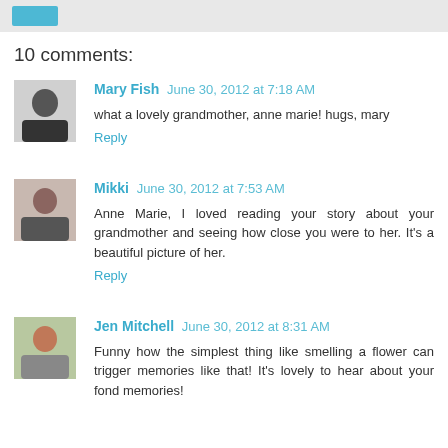[button]
10 comments:
Mary Fish  June 30, 2012 at 7:18 AM
what a lovely grandmother, anne marie! hugs, mary
Reply
Mikki  June 30, 2012 at 7:53 AM
Anne Marie, I loved reading your story about your grandmother and seeing how close you were to her. It's a beautiful picture of her.
Reply
Jen Mitchell  June 30, 2012 at 8:31 AM
Funny how the simplest thing like smelling a flower can trigger memories like that! It's lovely to hear about your fond memories!